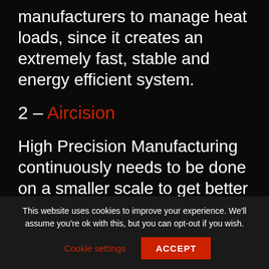manufacturers to manage heat loads, since it creates an extremely fast, stable and energy efficient system.
2 – Aircision
High Precision Manufacturing continuously needs to be done on a smaller scale to get better performance that can meet the demand of tomorrow's industry. In no segment is
This website uses cookies to improve your experience. We'll assume you're ok with this, but you can opt-out if you wish.
Cookie settings
ACCEPT